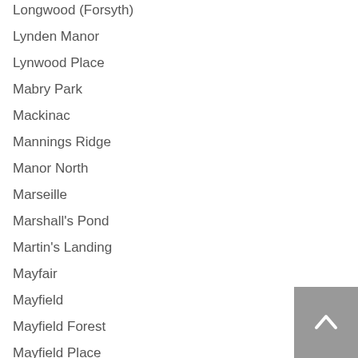Longwood (Forsyth)
Lynden Manor
Lynwood Place
Mabry Park
Mackinac
Mannings Ridge
Manor North
Marseille
Marshall's Pond
Martin's Landing
Mayfair
Mayfield
Mayfield Forest
Mayfield Place
Meadow Brook
Meadow Oaks
Merrimont
Michael's Pond
Mid Broadwell Trace
Millstone At Little River
[Figure (other): Gray scroll-to-top button with upward chevron arrow icon]